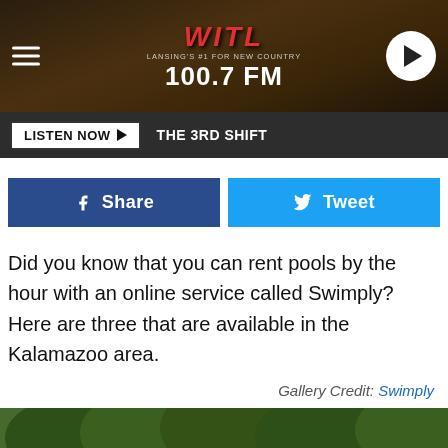WITL 100.7 FM — LANSING'S #1 FOR NEW COUNTRY
LISTEN NOW ▶  THE 3RD SHIFT
f Share  🐦 Tweet
Did you know that you can rent pools by the hour with an online service called Swimply? Here are three that are available in the Kalamazoo area.
Gallery Credit: Swimply
[Figure (photo): Backyard swimming pool with blue water surrounded by a wooden fence and green trees, with patio furniture visible.]